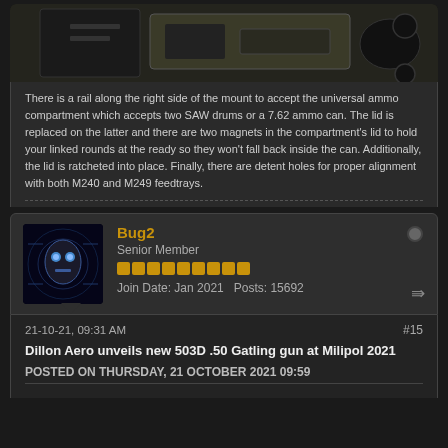[Figure (photo): Partial view of a firearm mount/accessory equipment on a light background, showing dark mechanical components]
There is a rail along the right side of the mount to accept the universal ammo compartment which accepts two SAW drums or a 7.62 ammo can. The lid is replaced on the latter and there are two magnets in the compartment's lid to hold your linked rounds at the ready so they won't fall back inside the can. Additionally, the lid is ratcheted into place. Finally, there are detent holes for proper alignment with both M240 and M249 feedtrays.
Bug2
Senior Member
Join Date: Jan 2021   Posts: 15692
21-10-21, 09:31 AM
#15
Dillon Aero unveils new 503D .50 Gatling gun at Milipol 2021
POSTED ON THURSDAY, 21 OCTOBER 2021 09:59